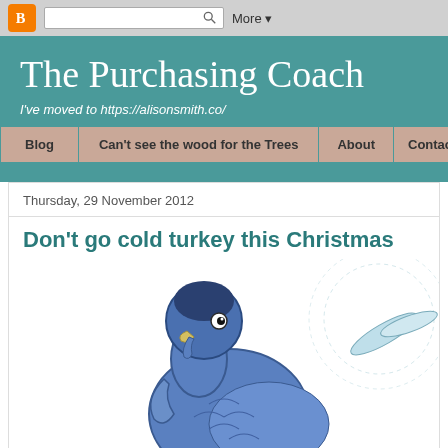Blogger navigation bar with search box and More button
The Purchasing Coach
I've moved to https://alisonsmith.co/
Blog
Can't see the wood for the Trees
About
Contac
Thursday, 29 November 2012
Don't go cold turkey this Christmas
[Figure (illustration): Cartoon blue turkey bird illustration, partially visible, showing the bird's head and body with feathers, on a white background with faint circular dashed pattern]